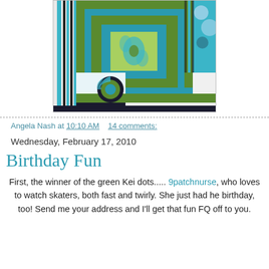[Figure (photo): Close-up photo of a colorful quilt block featuring teal/turquoise, green, black and white striped, and patterned fabrics arranged in a log cabin style pattern with a paisley center square.]
Angela Nash at 10:10 AM   14 comments:
Wednesday, February 17, 2010
Birthday Fun
First, the winner of the green Kei dots..... 9patchnurse, who loves to watch skaters, both fast and twirly. She just had he birthday, too! Send me your address and I'll get that fun FQ off to you.